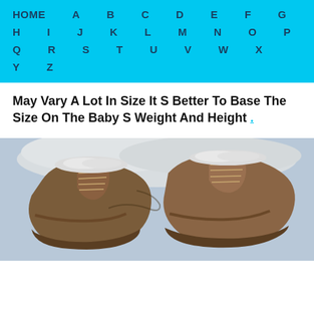HOME A B C D E F G H I J K L M N O P Q R S T U V W X Y Z
May Vary A Lot In Size It S Better To Base The Size On The Baby S Weight And Height .
[Figure (photo): Close-up photo of brown baby boots/shoes with fur trim, viewed from above at an angle.]